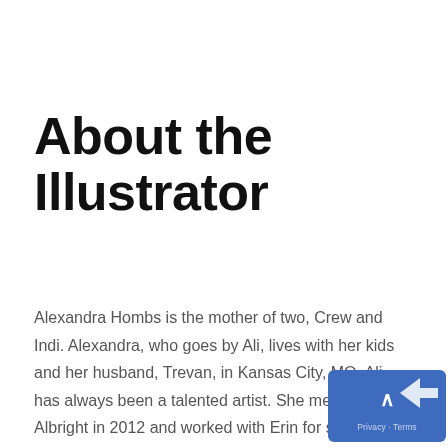About the Illustrator
Alexandra Hombs is the mother of two, Crew and Indi. Alexandra, who goes by Ali, lives with her kids and her husband, Trevan, in Kansas City, MO. Ali has always been a talented artist. She met Erin Albright in 2012 and worked with Erin for several years. Ali and Erin remained friends long after working together and when Erin approached Ali to do her illustrations, Ali jumped at chance. Ali brings Sassie's New Home to life throug beautiful, handmade drawings.